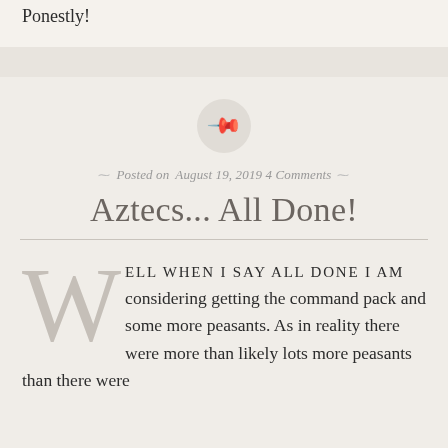Ponestly!
Posted on August 19, 2019 4 Comments
Aztecs... All Done!
Well when I say all done I am considering getting the command pack and some more peasants. As in reality there were more than likely lots more peasants than there were